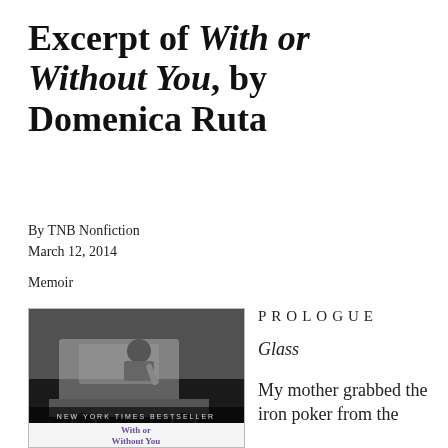Excerpt of With or Without You, by Domenica Ruta
By TNB Nonfiction
March 12, 2014
Memoir
[Figure (photo): Book cover of 'With or Without You' by Domenica Ruta — black and white photo of a child leaning out of a car window, text 'NEW YORK TIMES BESTSELLER' at bottom, and purple title text 'With or Without You' below.]
PROLOGUE
Glass
My mother grabbed the iron poker from the